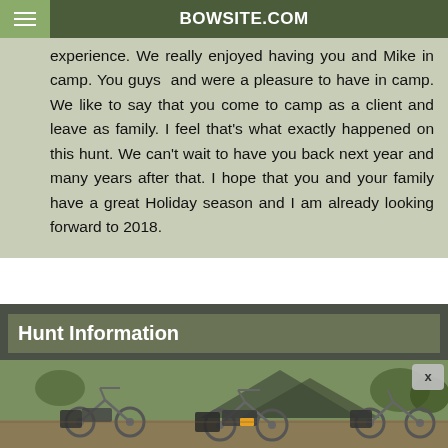BOWSITE.COM
experience. We really enjoyed having you and Mike in camp. You guys ... and were a pleasure to have in camp. We like to say that you come to camp as a client and leave as family. I feel that's what exactly happened on this hunt. We can't wait to have you back next year and many years after that. I hope that you and your family have a great Holiday season and I am already looking forward to 2018.
Hunt Information
Date of Hunt - November 2017
[Figure (photo): Advertisement photo showing camouflage electric bikes loaded with gear parked near a camping tent in an outdoor setting. A close button (x) appears in the top right corner.]